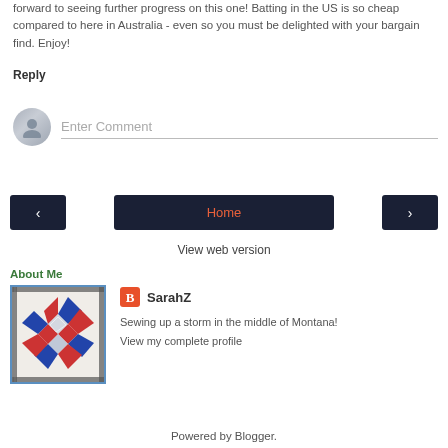forward to seeing further progress on this one! Batting in the US is so cheap compared to here in Australia - even so you must be delighted with your bargain find. Enjoy!
Reply
[Figure (screenshot): Comment input area with avatar icon and 'Enter Comment' placeholder text]
[Figure (screenshot): Navigation bar with left arrow button, Home button, and right arrow button]
View web version
About Me
[Figure (illustration): Quilt block image with red, blue, and white star pattern]
SarahZ
Sewing up a storm in the middle of Montana!
View my complete profile
Powered by Blogger.